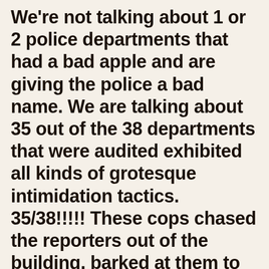We're not talking about 1 or 2 police departments that had a bad apple and are giving the police a bad name. We are talking about 35 out of the 38 departments that were audited exhibited all kinds of grotesque intimidation tactics. 35/38!!!!! These cops chased the reporters out of the building, barked at them to cough up their ID's, and threatened them with arrest as they tried to leave. This is nausiating. Imagine just how prevalent this all is throughout the country. Thank god we have so much portable video recording equipment in the hands of citizens